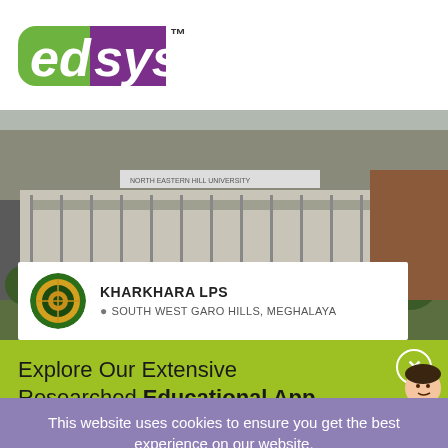[Figure (logo): edsys logo with TM mark - 'ed' in green and 'sys' in purple on white background]
[Figure (photo): Photo of a school/government building exterior with trees]
KHARKHARA LPS
SOUTH WEST GARO HILLS, MEGHALAYA
Explore Our Extensive Researched Educational App Directory
This website uses cookies to ensure you get the best experience on our website.
Accept Cookies
Decline